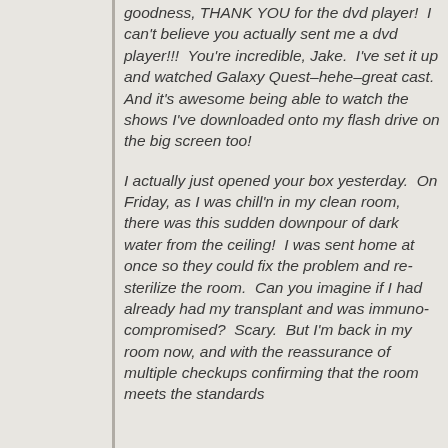goodness, THANK YOU for the dvd player!  I can't believe you actually sent me a dvd player!!!  You're incredible, Jake.  I've set it up and watched Galaxy Quest–hehe–great cast.  And it's awesome being able to watch the shows I've downloaded onto my flash drive on the big screen too!
I actually just opened your box yesterday.  On Friday, as I was chill'n in my clean room, there was this sudden downpour of dark water from the ceiling!  I was sent home at once so they could fix the problem and re-sterilize the room.  Can you imagine if I had already had my transplant and was immuno-compromised?  Scary.  But I'm back in my room now, and with the reassurance of multiple checkups confirming that the room meets the standards